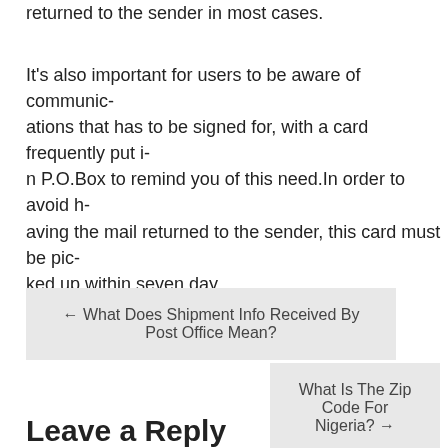returned to the sender in most cases.
It's also important for users to be aware of communications that has to be signed for, with a card frequently put in P.O.Box to remind you of this need.In order to avoid having the mail returned to the sender, this card must be picked up within seven day
← What Does Shipment Info Received By Post Office Mean?
What Is The Zip Code For Nigeria? →
Leave a Reply